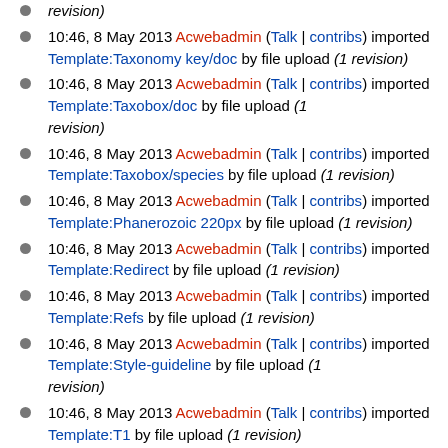revision)
10:46, 8 May 2013 Acwebadmin (Talk | contribs) imported Template:Taxonomy key/doc by file upload (1 revision)
10:46, 8 May 2013 Acwebadmin (Talk | contribs) imported Template:Taxobox/doc by file upload (1 revision)
10:46, 8 May 2013 Acwebadmin (Talk | contribs) imported Template:Taxobox/species by file upload (1 revision)
10:46, 8 May 2013 Acwebadmin (Talk | contribs) imported Template:Phanerozoic 220px by file upload (1 revision)
10:46, 8 May 2013 Acwebadmin (Talk | contribs) imported Template:Redirect by file upload (1 revision)
10:46, 8 May 2013 Acwebadmin (Talk | contribs) imported Template:Refs by file upload (1 revision)
10:46, 8 May 2013 Acwebadmin (Talk | contribs) imported Template:Style-guideline by file upload (1 revision)
10:46, 8 May 2013 Acwebadmin (Talk | contribs) imported Template:T1 by file upload (1 revision)
10:46, 8 May 2013 Acwebadmin (Talk | contribs)